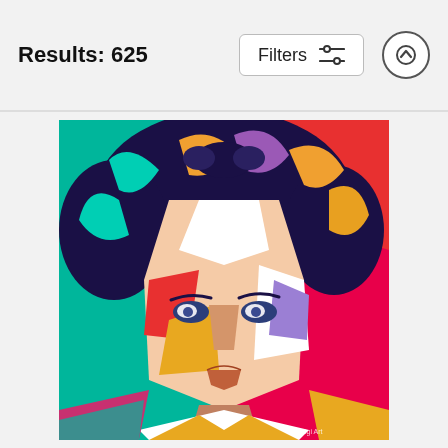Results: 625
[Figure (illustration): UI toolbar showing a 'Filters' button with a sliders icon and an up-arrow circular button]
[Figure (illustration): Pop art style colorful portrait illustration of a young child with curly hair, rendered in bold geometric shapes with teal, magenta, red, purple, gold, and white tones. Small text in bottom right corner reads 'MZdigi Art'.]